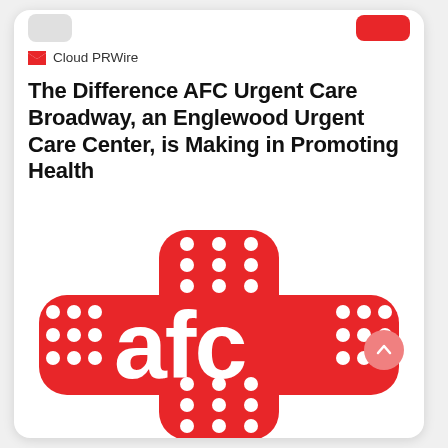Cloud PRWire
The Difference AFC Urgent Care Broadway, an Englewood Urgent Care Center, is Making in Promoting Health
[Figure (logo): AFC Urgent Care logo: a red cross/bandage shape with white polka dots and the letters 'afc' in white on red background]